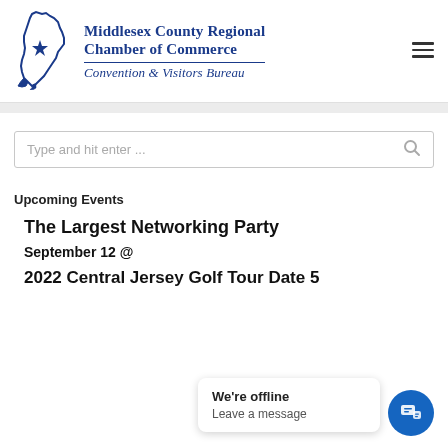[Figure (logo): Middlesex County Regional Chamber of Commerce Convention & Visitors Bureau logo with NJ state map outline and star]
[Figure (other): Hamburger menu icon (three horizontal lines)]
[Figure (other): Search box with placeholder text 'Type and hit enter ...' and search icon]
Upcoming Events
The Largest Networking Party
September 12 @
2022 Central Jersey Golf Tour Date 5
We're offline
Leave a message